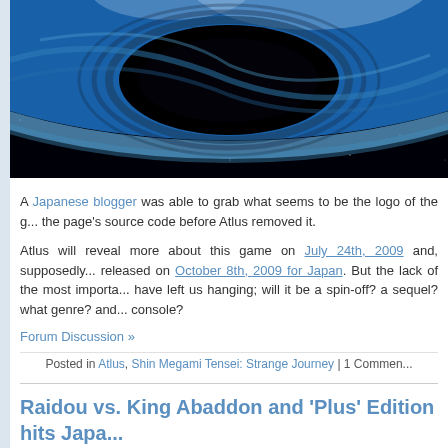[Figure (photo): Space/planet scene with blue atmospheric glow and black hole-like vortex against starfield background]
A Japanese blogger was able to grab what seems to be the logo of the g... the page's source code before Atlus removed it.
Atlus will reveal more about this game on July 24th, 2009 and, supposedly... released on October 8th, 2009 for Japan. But the lack of the most importa... have left us hanging; will it be a spin-off? a sequel? what genre? and... console?
Forum Discussion »
Posted in Atlus, Shin Megami Tensei: Strange Journey | 1 Commen...
Raidou vs. King Abaddon and 'Plus' Edition hits Japa...
Friday, August 1st, 2008 by DevilRy at www.digitaldevildb.com
[Figure (photo): Thumbnails of game-related images at the bottom of the post]